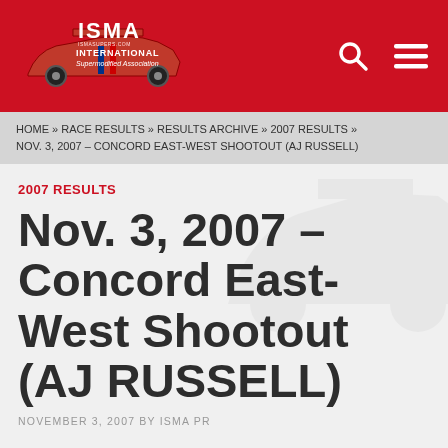[Figure (logo): ISMA International Supermodified Association logo on red header bar with search and menu icons]
HOME » RACE RESULTS » RESULTS ARCHIVE » 2007 RESULTS » NOV. 3, 2007 – CONCORD EAST-WEST SHOOTOUT (AJ RUSSELL)
2007 RESULTS
Nov. 3, 2007 – Concord East-West Shootout (AJ RUSSELL)
NOVEMBER 3, 2007 BY ISMA PR
WEST COASTER RUSSELL TAKES THE